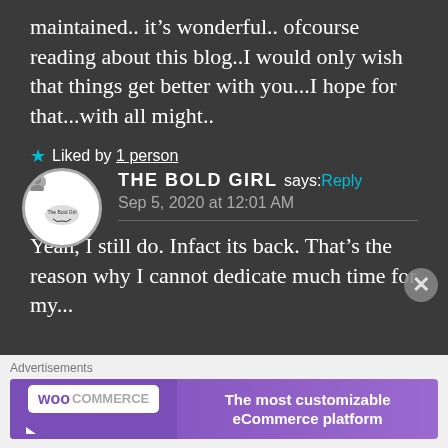maintained.. it's wonderful.. ofcourse reading about this blog..I would only wish that things get better with you...I hope for that...with all might..
★ Liked by 1 person
THE BOLD GIRL says: Reply
Sep 5, 2020 at 12:01 AM
Yeah, I still do. Infact its back. That's the reason why I cannot dedicate much time for my...
Advertisements
[Figure (infographic): WooCommerce advertisement banner: purple gradient background, WooCommerce logo on left, text 'The most customizable eCommerce platform' on right]